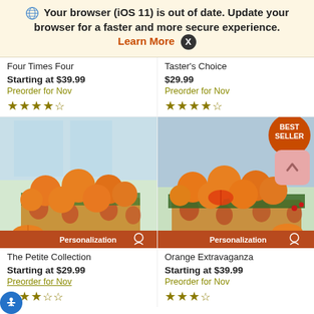Your browser (iOS 11) is out of date. Update your browser for a faster and more secure experience. Learn More X
Four Times Four
Starting at $39.99
Preorder for Nov
★★★★½
Taster's Choice
$29.99
Preorder for Nov
★★★★½
[Figure (photo): Box of oranges labeled 'The Petite Collection' with personalization bar at bottom]
[Figure (photo): Box of mixed citrus labeled 'Orange Extravaganza' with BEST SELLER badge and personalization bar]
The Petite Collection
Starting at $29.99
Preorder for Nov
Orange Extravaganza
Starting at $39.99
Preorder for Nov